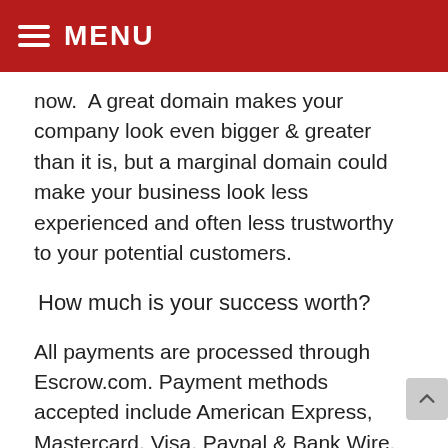MENU
now.  A great domain makes your company look even bigger & greater than it is, but a marginal domain could make your business look less experienced and often less trustworthy to your potential customers.
How much is your success worth?
All payments are processed through Escrow.com. Payment methods accepted include American Express, Mastercard, Visa, Paypal & Bank Wire.
Escrow.com is an accredited Escrow company in the United States and the most trusted payment